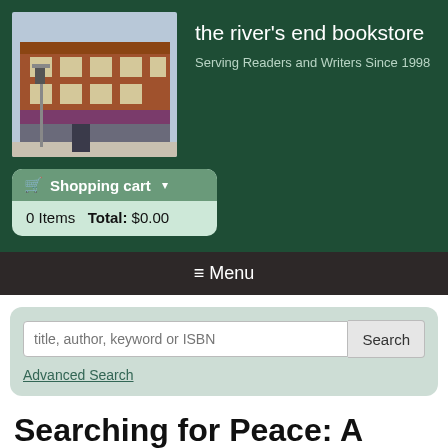[Figure (photo): Photo of a red brick bookstore building exterior with awnings]
the river's end bookstore
Serving Readers and Writers Since 1998
Shopping cart ▾
0 Items   Total: $0.00
≡ Menu
title, author, keyword or ISBN
Advanced Search
Searching for Peace: A Memoir of Israel (Hardcover)
By Ehud Olmert